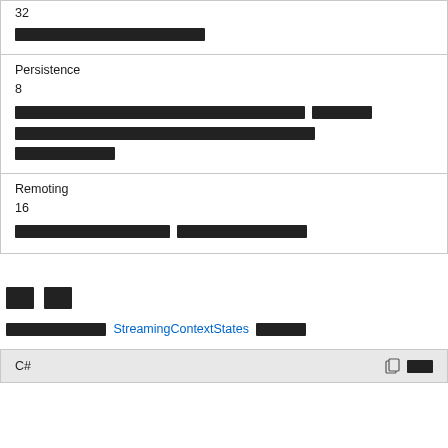| 32 | ████████████ |
| Persistence | 8 | ████████████████████████████████████████████ ██████████████████████████████████████████████████████████████████ |
| Remoting | 16 | ████████████████████ ████████████████████████ |
██
██████████████ StreamingContextStates ████
C#  [copy] [icons]